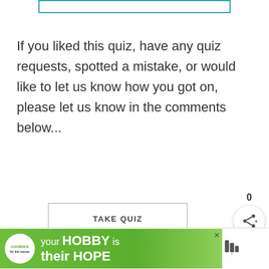[Figure (other): Teal/turquoise bordered rectangle at top of page, partially cropped]
If you liked this quiz, have any quiz requests, spotted a mistake, or would like to let us know how you got on, please let us know in the comments below...
[Figure (other): TAKE QUIZ button with rectangular border]
[Figure (other): Share widget showing count 0 and share icon button]
[Figure (other): WHAT'S NEXT arrow label with Disney Princesses thumbnail and text]
[Figure (other): Social media icons: Facebook, Twitter, Pinterest, Email]
[Figure (other): Advertisement banner: cookies for kid cancer - your HOBBY is their HOPE on green background]